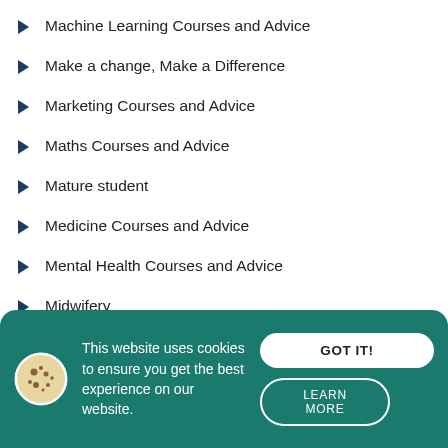Machine Learning Courses and Advice
Make a change, Make a Difference
Marketing Courses and Advice
Maths Courses and Advice
Mature student
Medicine Courses and Advice
Mental Health Courses and Advice
Midwifery
Mindfulness Courses and Advice
Money Management
Nursing Courses and Careers
Nutrition Courses and Advice
This website uses cookies to ensure you get the best experience on our website.